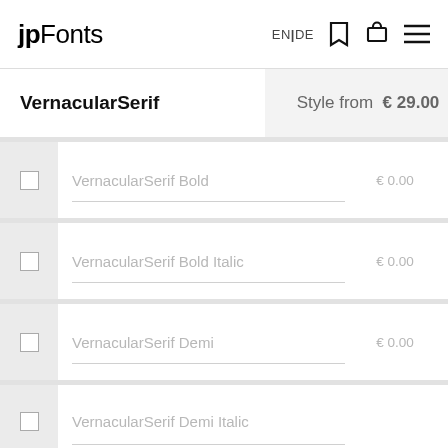jpFonts  EN | DE
VernacularSerif
Style from € 29.00
VernacularSerif Bold  € 0.00
VernacularSerif Bold Italic  € 0.00
VernacularSerif Demi  € 0.00
VernacularSerif Demi Italic  € 0.00